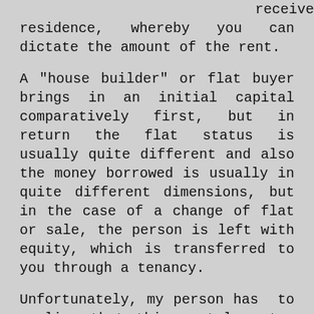receives the right of residence, whereby you can dictate the amount of the rent.
A "house builder" or flat buyer brings in an initial capital comparatively first, but in return the flat status is usually quite different and also the money borrowed is usually in quite different dimensions, but in the case of a change of flat or sale, the person is left with equity, which is transferred to you through a tenancy.
Unfortunately, my person has to realise that this rental system has even been supported by the state, also in order to stimulate the economy.
On the other hand, this system has the advantage that if the state is broke, the apartment